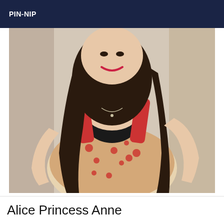PIN-NIP
[Figure (photo): A young woman with long dark hair, smiling, wearing a red and beige patterned sleeveless dress with black lace detail at the neckline. She has her hand on her hip and is posing indoors.]
Alice Princess Anne